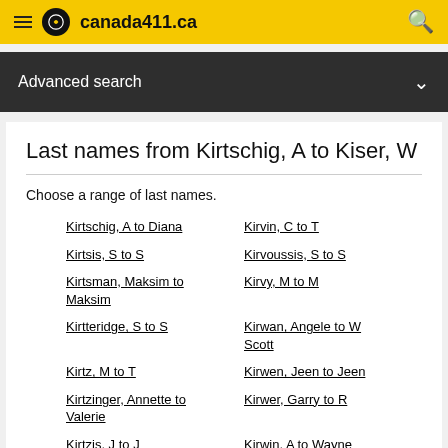canada411.ca
Advanced search
Last names from Kirtschig, A to Kiser, W
Choose a range of last names.
Kirtschig, A to Diana
Kirtsis, S to S
Kirtsman, Maksim to Maksim
Kirtteridge, S to S
Kirtz, M to T
Kirtzinger, Annette to Valerie
Kirtzis, J to J
Kiru, B to V
Kiruba, J to P
Kirvin, C to T
Kirvoussis, S to S
Kirvy, M to M
Kirwan, Angele to W Scott
Kirwen, Jeen to Jeen
Kirwer, Garry to R
Kirwin, A to Wayne
Kiry, O to O
Kiryakos, Amear to Yakon